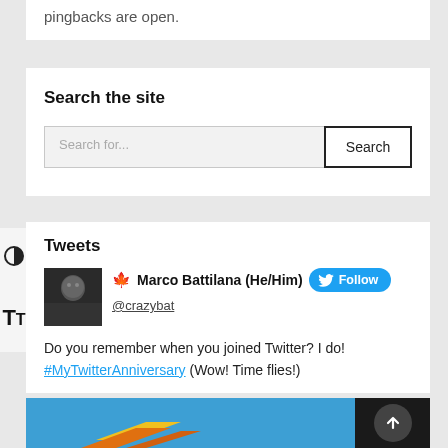pingbacks are open.
Search the site
Search for...
Tweets
🍁 Marco Battilana (He/Him)  Follow  @crazybat
Do you remember when you joined Twitter? I do! #MyTwitterAnniversary (Wow! Time flies!)